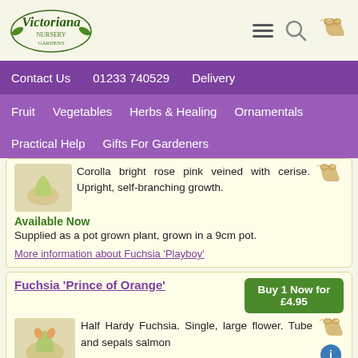[Figure (logo): Victoriana Nursery logo with green decorative text and illustration]
Contact Us   01233 740529   Delivery
Fruit   Vegetables   Herbs & Healing   Ornamentals   Practical Help   Gifts For Gardeners
Corolla bright rose pink veined with cerise. Upright, self-branching growth.
Available Now
Supplied as a pot grown plant, grown in a 9cm pot.
More information about Fuchsia 'Playboy'
Fuchsia 'Prince of Orange'
Buy 1 Now for £4.95
Half Hardy Fuchsia. Single, large flower. Tube and sepals salmon